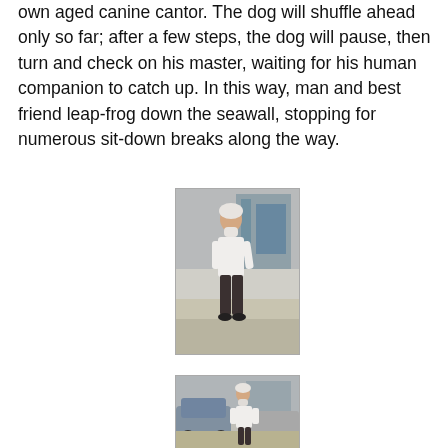own aged canine cantor. The dog will shuffle ahead only so far; after a few steps, the dog will pause, then turn and check on his master, waiting for his human companion to catch up. In this way, man and best friend leap-frog down the seawall, stopping for numerous sit-down breaks along the way.
[Figure (photo): An elderly man with white hair and beard, wearing a white long-sleeve shirt and dark trousers, walking on a sidewalk in an urban setting with buildings in background.]
[Figure (photo): The same elderly man with white hair and beard, wearing a white long-sleeve shirt and dark trousers, walking near parked cars in an urban setting.]